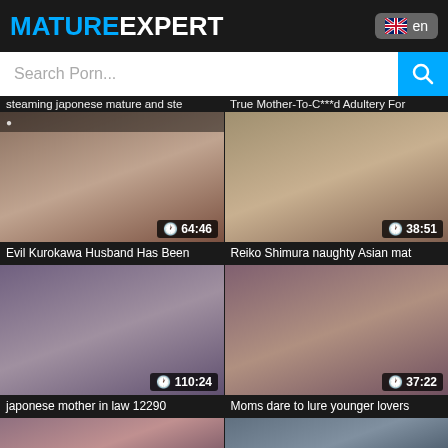MATUREEXPERT
Search Porn...
steaming japonese mature and ste | True Mother-To-C***d Adultery For
[Figure (photo): Video thumbnail - 64:46 duration]
[Figure (photo): Video thumbnail - 38:51 duration]
Evil Kurokawa Husband Has Been
Reiko Shimura naughty Asian mat
[Figure (photo): Video thumbnail - 110:24 duration]
[Figure (photo): Video thumbnail - 37:22 duration]
japonese mother in law 12290
Moms dare to lure younger lovers
[Figure (photo): Video thumbnail - partial view bottom]
[Figure (photo): Video thumbnail - partial view bottom]